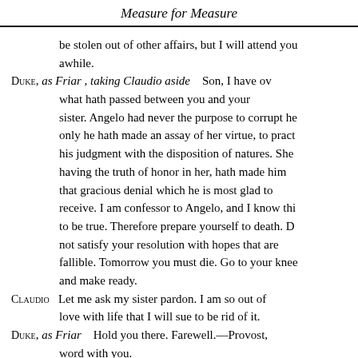Measure for Measure
be stolen out of other affairs, but I will attend you awhile.
DUKE, as Friar , taking Claudio aside    Son, I have overheard what hath passed between you and your sister. Angelo had never the purpose to corrupt her; only he hath made an assay of her virtue, to practice his judgment with the disposition of natures. She, having the truth of honor in her, hath made him that gracious denial which he is most glad to receive. I am confessor to Angelo, and I know this to be true. Therefore prepare yourself to death. Do not satisfy your resolution with hopes that are fallible. Tomorrow you must die. Go to your knees and make ready.
CLAUDIO  Let me ask my sister pardon. I am so out of love with life that I will sue to be rid of it.
DUKE, as Friar   Hold you there. Farewell.—Provost, a word with you.
Enter Provost.